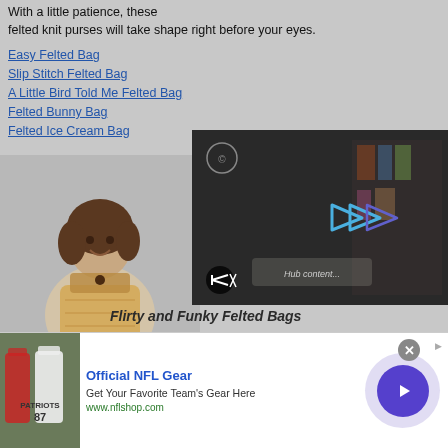With a little patience, these felted knit purses will take shape right before your eyes.
Easy Felted Bag
Slip Stitch Felted Bag
A Little Bird Told Me Felted Bag
Felted Bunny Bag
Felted Ice Cream Bag
[Figure (photo): Woman holding a felted knit purse/bag]
[Figure (screenshot): Video player overlay showing a dark video with play button arrows and mute button]
Flirty and Funky Felted Bags
[Figure (infographic): Advertisement banner: Official NFL Gear - Get Your Favorite Team's Gear Here - www.nflshop.com, with NFL jersey image and circular arrow button]